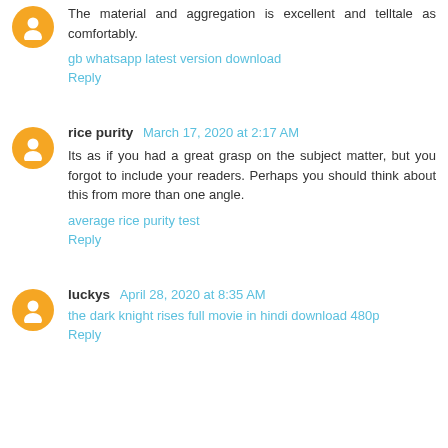The material and aggregation is excellent and telltale as comfortably.
gb whatsapp latest version download
Reply
rice purity  March 17, 2020 at 2:17 AM
Its as if you had a great grasp on the subject matter, but you forgot to include your readers. Perhaps you should think about this from more than one angle.
average rice purity test
Reply
luckys  April 28, 2020 at 8:35 AM
the dark knight rises full movie in hindi download 480p
Reply